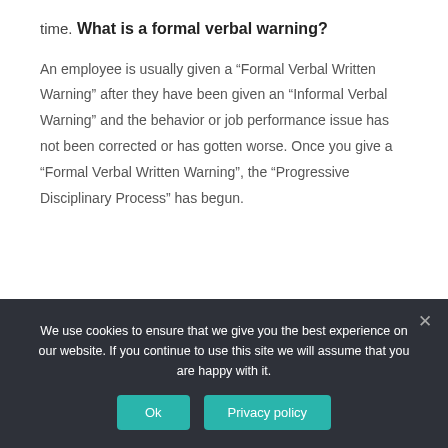time.
What is a formal verbal warning?
An employee is usually given a “Formal Verbal Written Warning” after they have been given an “Informal Verbal Warning” and the behavior or job performance issue has not been corrected or has gotten worse. Once you give a “Formal Verbal Written Warning”, the “Progressive Disciplinary Process” has begun.
[Figure (screenshot): Dark bar at bottom of page with a circular icon visible, appears to be a video or media player element]
We use cookies to ensure that we give you the best experience on our website. If you continue to use this site we will assume that you are happy with it.